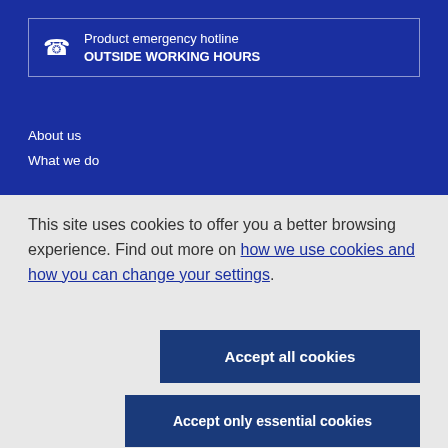[Figure (infographic): Product emergency hotline box with phone icon, text 'Product emergency hotline' and 'OUTSIDE WORKING HOURS' on blue background with white border]
About us
What we do
This site uses cookies to offer you a better browsing experience. Find out more on how we use cookies and how you can change your settings.
Accept all cookies
Accept only essential cookies